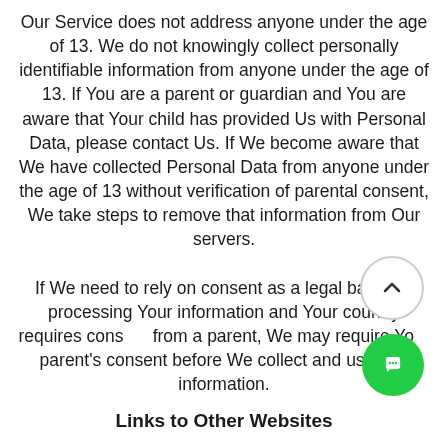Our Service does not address anyone under the age of 13. We do not knowingly collect personally identifiable information from anyone under the age of 13. If You are a parent or guardian and You are aware that Your child has provided Us with Personal Data, please contact Us. If We become aware that We have collected Personal Data from anyone under the age of 13 without verification of parental consent, We take steps to remove that information from Our servers. If We need to rely on consent as a legal basis for processing Your information and Your country requires consent from a parent, We may require Your parent's consent before We collect and use that information.
Links to Other Websites